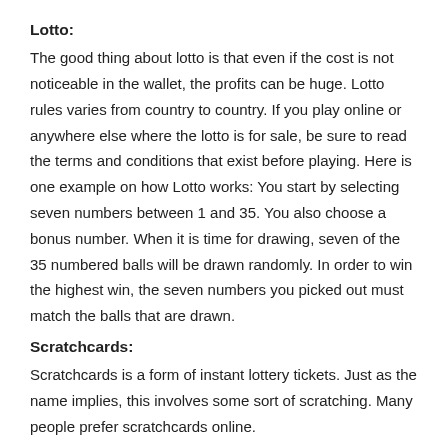Lotto:
The good thing about lotto is that even if the cost is not noticeable in the wallet, the profits can be huge. Lotto rules varies from country to country. If you play online or anywhere else where the lotto is for sale, be sure to read the terms and conditions that exist before playing. Here is one example on how Lotto works: You start by selecting seven numbers between 1 and 35. You also choose a bonus number. When it is time for drawing, seven of the 35 numbered balls will be drawn randomly. In order to win the highest win, the seven numbers you picked out must match the balls that are drawn.
Scratchcards:
Scratchcards is a form of instant lottery tickets. Just as the name implies, this involves some sort of scratching. Many people prefer scratchcards online.
Keno:
Keno is similar to bingo and has a long history which started 3000 years ago in china. The game involves pre selecting